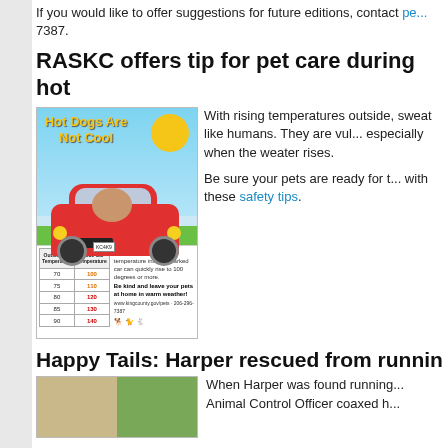If you would like to offer suggestions for future editions, contact pe... 7387.
RASKC offers tip for pet care during hot...
[Figure (infographic): Hot Dogs Are Not Cool infographic showing a dog in a parked red car with temperature comparison table showing outside vs inside car temperatures (70/100, 75/110, 80/120, 85/130, 90/140).]
With rising temperatures outside, sweat like humans. They are vul... especially when the weater rises...
Be sure your pets are ready for t... with these safety tips.
Happy Tails: Harper rescued from runnin...
[Figure (photo): Two photos side by side of Harper, a dog rescued from running at large.]
When Harper was found running... Animal Control Officer coaxed h...